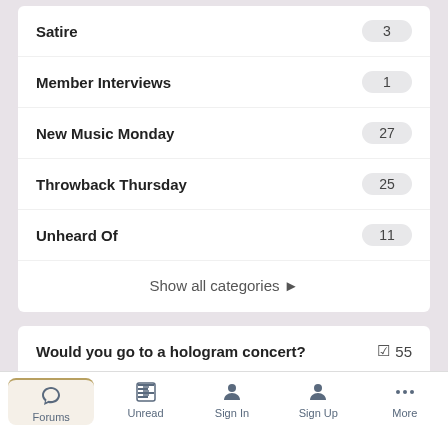Satire — 3
Member Interviews — 1
New Music Monday — 27
Throwback Thursday — 25
Unheard Of — 11
Show all categories ▶
Would you go to a hologram concert? ☑ 55
1. Would you attend a holographic concert?
Yes
Forums | Unread | Sign In | Sign Up | More